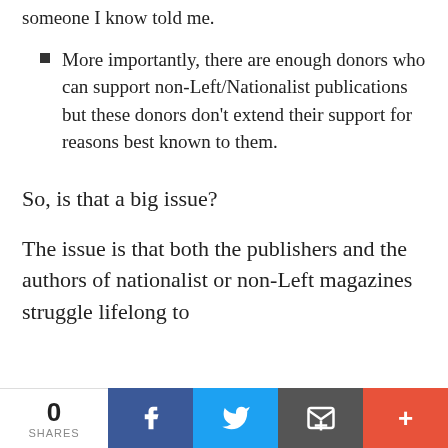someone I know told me.
More importantly, there are enough donors who can support non-Left/Nationalist publications but these donors don't extend their support for reasons best known to them.
So, is that a big issue?
The issue is that both the publishers and the authors of nationalist or non-Left magazines struggle lifelong to
0 SHARES  [Facebook] [Twitter] [Email] [More]